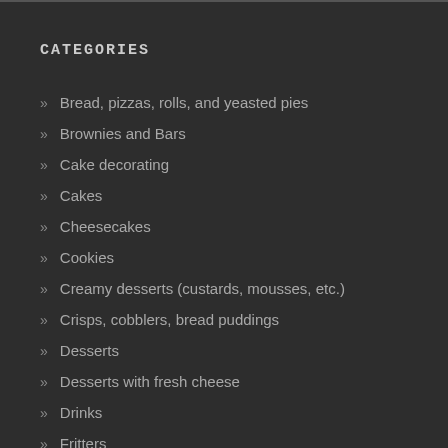CATEGORIES
Bread, pizzas, rolls, and yeasted pies
Brownies and Bars
Cake decorating
Cakes
Cheesecakes
Cookies
Creamy desserts (custards, mousses, etc.)
Crisps, cobblers, bread puddings
Desserts
Desserts with fresh cheese
Drinks
Fritters